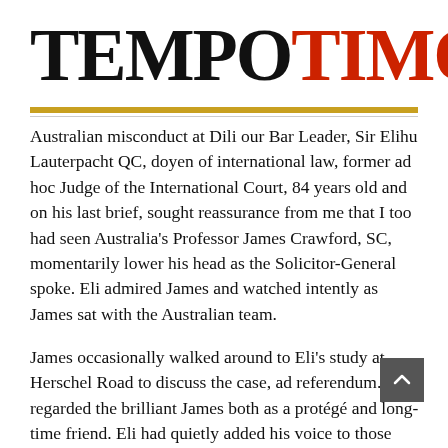[Figure (logo): Tempo Timor newspaper logo with 'TEMPO' in black bold and 'TIMOR' in red bold, tagline 'Husi Imiba Imi' in red below TIMOR]
Australian misconduct at Dili our Bar Leader, Sir Elihu Lauterpacht QC, doyen of international law, former ad hoc Judge of the International Court, 84 years old and on his last brief, sought reassurance from me that I too had seen Australia's Professor James Crawford, SC, momentarily lower his head as the Solicitor-General spoke. Eli admired James and watched intently as James sat with the Australian team.
James occasionally walked around to Eli's study at Herschel Road to discuss the case, ad referendum. Eli regarded the brilliant James both as a protégé and long-time friend. Eli had quietly added his voice to those with a say about a forthcoming vacancy on the bench at the International Court. Xanana Gusmão, prime minister of East Timor, had also ensured his government's and other Lusophone countries' support and issues aside we all hoped that